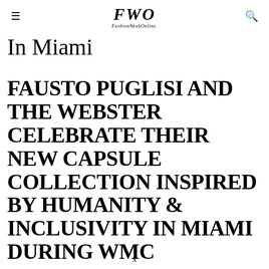FWO FashionWeekOnline
In Miami
FAUSTO PUGLISI AND THE WEBSTER CELEBRATE THEIR NEW CAPSULE COLLECTION INSPIRED BY HUMANITY & INCLUSIVITY IN MIAMI DURING WMC